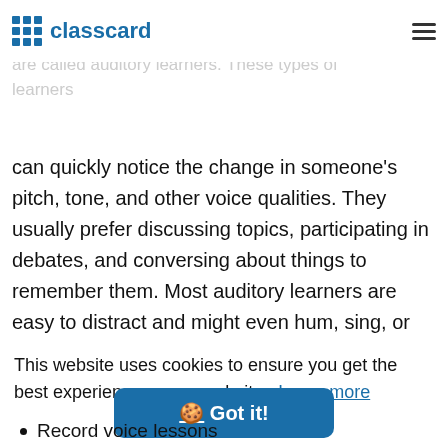classcard
People who tend to understand and retain information by hearing it or saying it out loud (oral) are called auditory learners. These types of learners can quickly notice the change in someone's pitch, tone, and other voice qualities. They usually prefer discussing topics, participating in debates, and conversing about things to remember them. Most auditory learners are easy to distract and might even hum, sing, or talk to self frequently.
This website uses cookies to ensure you get the best experience on our website. Learn more
Got it!
Record voice lessons